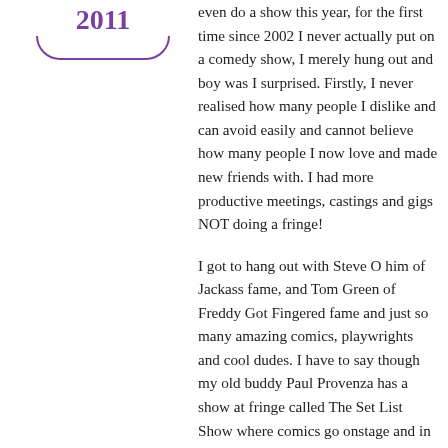2011
even do a show this year, for the first time since 2002 I never actually put on a comedy show, I merely hung out and boy was I surprised. Firstly, I never realised how many people I dislike and can avoid easily and cannot believe how many people I now love and made new friends with. I had more productive meetings, castings and gigs NOT doing a fringe!
I got to hang out with Steve O him of Jackass fame, and Tom Green of Freddy Got Fingered fame and just so many amazing comics, playwrights and cool dudes. I have to say though my old buddy Paul Provenza has a show at fringe called The Set List Show where comics go onstage and in 15 seconds get told what subjects they have to weave into a live set. It is the most exhilarating frightening satisfying comedy show I have ever done – so much so I did it five times and with gusto! It's like that very first gig: I wanted to keep doing it till it broke me